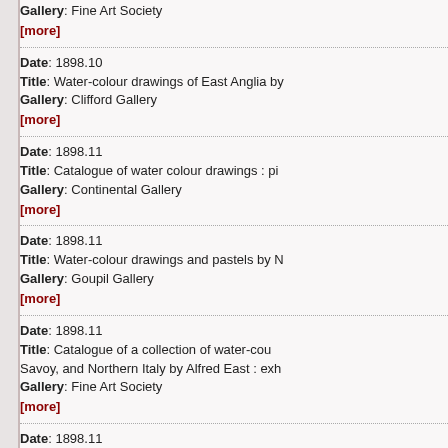Gallery: Fine Art Society
[more]
Date: 1898.10
Title: Water-colour drawings of East Anglia by
Gallery: Clifford Gallery
[more]
Date: 1898.11
Title: Catalogue of water colour drawings : pi
Gallery: Continental Gallery
[more]
Date: 1898.11
Title: Water-colour drawings and pastels by N
Gallery: Goupil Gallery
[more]
Date: 1898.11
Title: Catalogue of a collection of water-colu Savoy, and Northern Italy by Alfred East : exh
Gallery: Fine Art Society
[more]
Date: 1898.11
Title: Water-colour drawings by Baroness He Imperial Majesty, the Empress Frederic
Gallery: Clifford Gallery
[more]